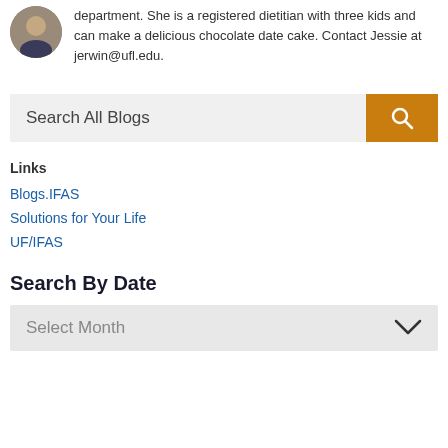department. She is a registered dietitian with three kids and can make a delicious chocolate date cake. Contact Jessie at jerwin@ufl.edu.
[Figure (photo): Circular avatar photo of a person]
Search All Blogs
Links
Blogs.IFAS
Solutions for Your Life
UF/IFAS
Search By Date
Select Month